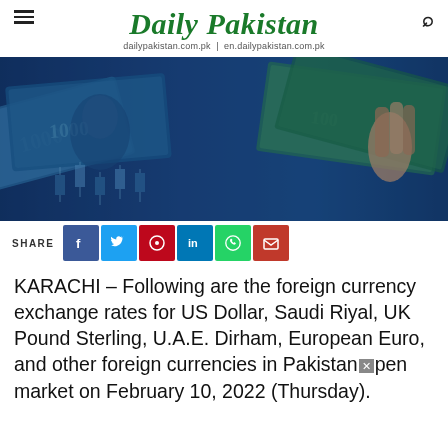Daily Pakistan | dailypakistan.com.pk | en.dailypakistan.com.pk
[Figure (photo): Blue-tinted photo of Pakistani rupee banknotes and US dollar bills with candlestick chart overlay]
SHARE
KARACHI – Following are the foreign currency exchange rates for US Dollar, Saudi Riyal, UK Pound Sterling, U.A.E. Dirham, European Euro, and other foreign currencies in Pakistan open market on February 10, 2022 (Thursday).